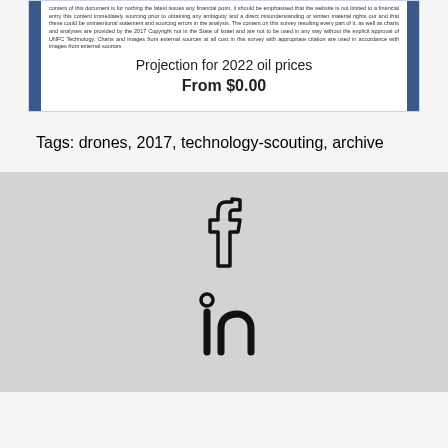[Figure (other): Product card with small text block at top, showing 'Projection for 2022 oil prices' title and 'From $0.00' price, with dark blue side bars]
Tags: drones, 2017, technology-scouting, archive
[Figure (other): Social media icons section on grey background: Facebook 'f' icon and LinkedIn 'in' icon]